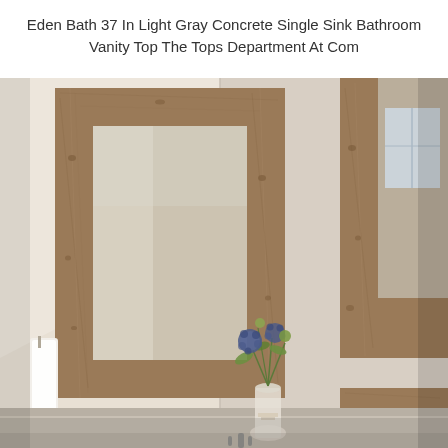Eden Bath 37 In Light Gray Concrete Single Sink Bathroom Vanity Top The Tops Department At Com
[Figure (photo): Bathroom interior with two rustic wooden-framed mirrors on beige/cream plastered walls. A white towel hangs on the left, a glass vase with blue and green flowers sits on what appears to be a vanity countertop in the center foreground. The room has warm natural lighting.]